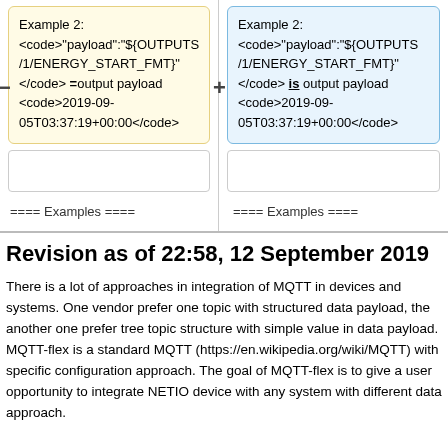[Figure (other): Diff comparison view with two columns. Left column (yellow background, minus sign): Example 2 with code 'payload':'${OUTPUTS/1/ENERGY_START_FMT}' </code> =output payload <code>2019-09-05T03:37:19+00:00</code>. Right column (blue background, plus sign): Same example but with 'is' (underlined) instead of '='. Below each are empty boxes and '==== Examples ====' lines.]
Revision as of 22:58, 12 September 2019
There is a lot of approaches in integration of MQTT in devices and systems. One vendor prefer one topic with structured data payload, the another one prefer tree topic structure with simple value in data payload. MQTT-flex is a standard MQTT (https://en.wikipedia.org/wiki/MQTT) with specific configuration approach. The goal of MQTT-flex is to give a user opportunity to integrate NETIO device with any system with different data approach.